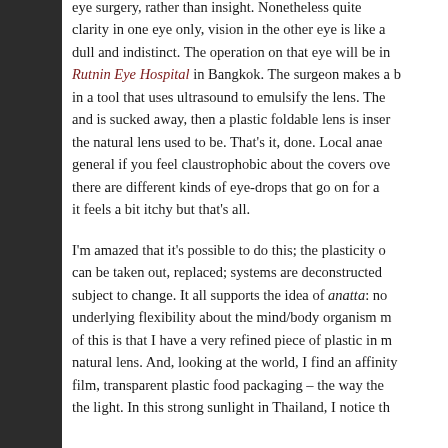eye surgery, rather than in sight. Nonetheless quite clarity in one eye only, vision in the other eye is like a dull and indistinct. The operation on that eye will be in Rutnin Eye Hospital in Bangkok. The surgeon makes a b in a tool that uses ultrasound to emulsify the lens. The and is sucked away, then a plastic foldable lens is inser the natural lens used to be. That's it, done. Local anae general if you feel claustrophobic about the covers ove there are different kinds of eye-drops that go on for a it feels a bit itchy but that's all.
I'm amazed that it's possible to do this; the plasticity o can be taken out, replaced; systems are deconstructed subject to change. It all supports the idea of anatta: no underlying flexibility about the mind/body organism m of this is that I have a very refined piece of plastic in m natural lens. And, looking at the world, I find an affinity film, transparent plastic food packaging – the way the the light. In this strong sunlight in Thailand, I notice th